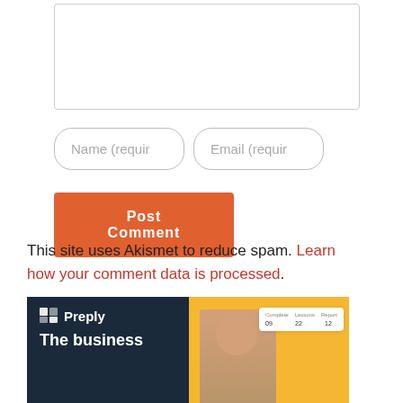[Figure (screenshot): A comment form textarea (empty, with resize handle at bottom right), two rounded text input fields labeled 'Name (requir' and 'Email (requir', and an orange 'Post Comment' button below.]
This site uses Akismet to reduce spam. Learn how your comment data is processed.
[Figure (illustration): Preply promotional banner. Left side: dark navy background with Preply logo and 'The business' text. Right side: yellow background with a man's photo and a UI card showing usage stats.]